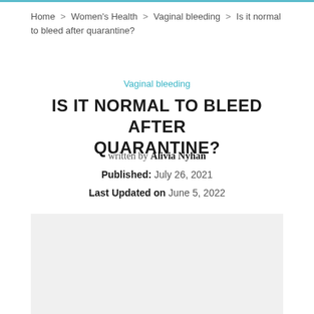Home > Women's Health > Vaginal bleeding > Is it normal to bleed after quarantine?
Vaginal bleeding
IS IT NORMAL TO BLEED AFTER QUARANTINE?
written by Alivia Nyhan
Published: July 26, 2021
Last Updated on June 5, 2022
[Figure (photo): Gray placeholder image area below article header]